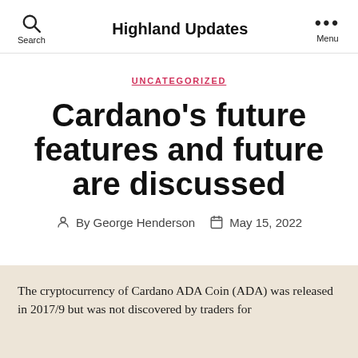Highland Updates
UNCATEGORIZED
Cardano's future features and future are discussed
By George Henderson   May 15, 2022
The cryptocurrency of Cardano ADA Coin (ADA) was released in 2017/9 but was not discovered by traders for...